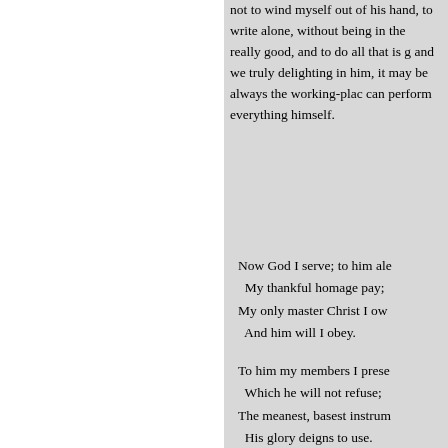not to wind myself out of his hand, to write alone, without being in the really good, and to do all that is good and we truly delighting in him, it may be always the working-place can perform everything himself.
Now God I serve; to him alone
    My thankful homage pay;
My only master Christ I own
    And him will I obey.

To him my members I present,
    Which he will not refuse;
The meanest, basest instrument
    His glory deigns to use.

Come then, my soul, to God,
    In holy ardour come;

Obey the precepts of his word,
    Until he calls thee home.

A slave to sin too long thou